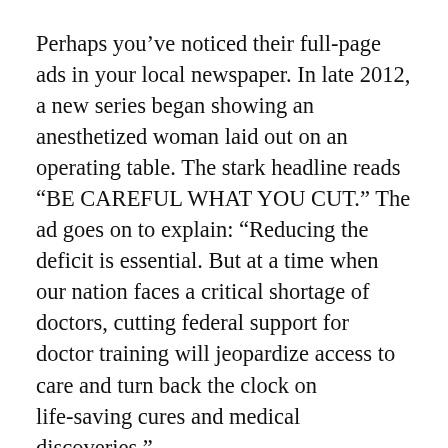Perhaps you've noticed their full-page ads in your local newspaper. In late 2012, a new series began showing an anesthetized woman laid out on an operating table. The stark headline reads “BE CAREFUL WHAT YOU CUT.” The ad goes on to explain: “Reducing the deficit is essential. But at a time when our nation faces a critical shortage of doctors, cutting federal support for doctor training will jeopardize access to care and turn back the clock on life-saving cures and medical discoveries.”
These ads are brought to you by the Association of American Medical Colleges and are part of an extensive lobbying and public relations effort. At